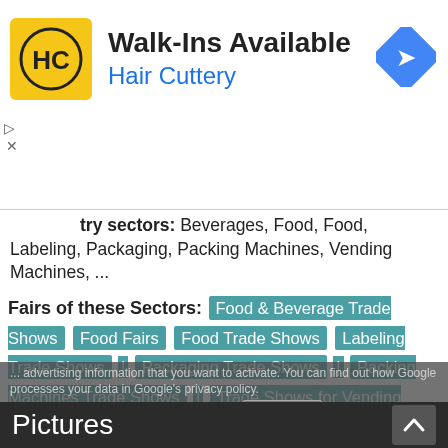[Figure (screenshot): Hair Cuttery advertisement banner with yellow logo showing HC, text 'Walk-Ins Available' and 'Hair Cuttery' in blue, blue diamond navigation arrow icon on right]
try sectors: Beverages, Food, Food, Labeling, Packaging, Packing Machines, Vending Machines, ...
Fairs of these Sectors: Food & Beverage Trade Shows | Food Fairs | Food Trade Shows | Labeling Trade Shows | Packaging Trade Shows | Packing Machines Trade Shows | Trade Shows for Vending Machines
Disclaimer: No responsibility is taken for the correctness of this information. Errors and alterations excepted! Fair dates and exhibition sites are subject to change by the respective trade fair organiser.
Pictures
Upload a picture from your booth on the Drink
✓ OK, accept all  ✗ Deny all cookies  Personalize
Privacy policy